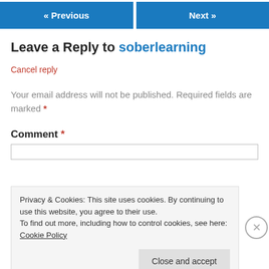« Previous   Next »
Leave a Reply to soberlearning
Cancel reply
Your email address will not be published. Required fields are marked *
Comment *
Privacy & Cookies: This site uses cookies. By continuing to use this website, you agree to their use.
To find out more, including how to control cookies, see here: Cookie Policy
Close and accept